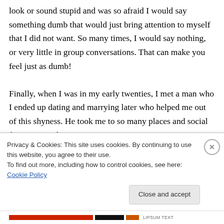look or sound stupid and was so afraid I would say something dumb that would just bring attention to myself that I did not want. So many times, I would say nothing, or very little in group conversations. That can make you feel just as dumb!

Finally, when I was in my early twenties, I met a man who I ended up dating and marrying later who helped me out of this shyness. He took me to so many places and social functions, and I
Privacy & Cookies: This site uses cookies. By continuing to use this website, you agree to their use.
To find out more, including how to control cookies, see here: Cookie Policy
Close and accept